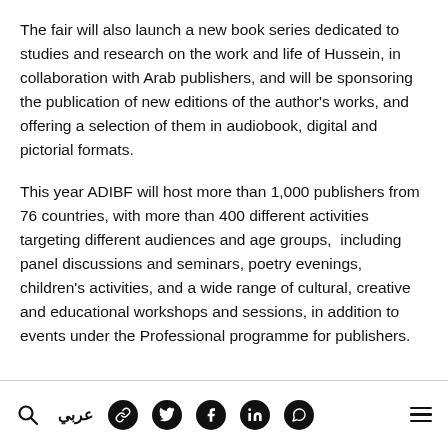The fair will also launch a new book series dedicated to studies and research on the work and life of Hussein, in collaboration with Arab publishers, and will be sponsoring the publication of new editions of the author's works, and offering a selection of them in audiobook, digital and pictorial formats.
This year ADIBF will host more than 1,000 publishers from 76 countries, with more than 400 different activities targeting different audiences and age groups, including panel discussions and seminars, poetry evenings, children's activities, and a wide range of cultural, creative and educational workshops and sessions, in addition to events under the Professional programme for publishers.
Search | عربي | social icons | menu